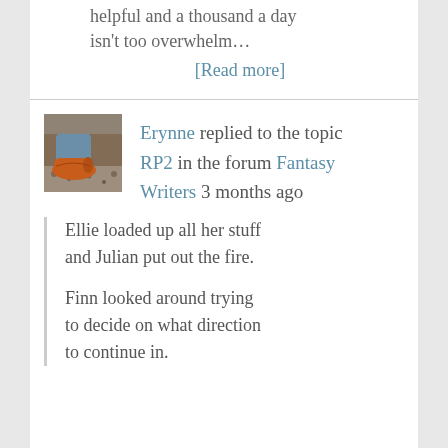helpful and a thousand a day isn't too overwhelm…
[Read more]
Erynne replied to the topic RP2 in the forum Fantasy Writers 3 months ago
[Figure (photo): Avatar photo showing orange shoes and blue jeans from above]
Ellie loaded up all her stuff and Julian put out the fire.
Finn looked around trying to decide on what direction to continue in.